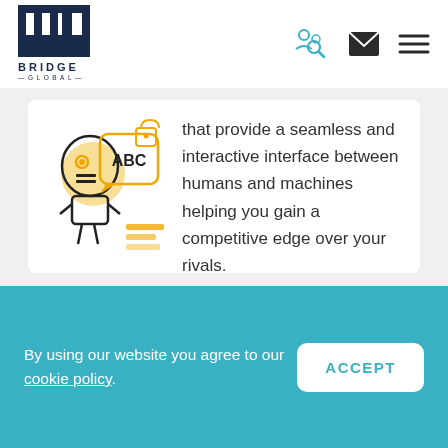[Figure (logo): Bridge Global logo — dark blue square icon with white arch/bridge shape, text BRIDGE GLOBAL below]
[Figure (illustration): Navigation icons: teal people/magnifying glass icon, dark envelope/mail icon, dark hamburger menu lines]
[Figure (illustration): AI robot with ABC speech bubble and padlock icon in yellow and black line style]
that provide a seamless and interactive interface between humans and machines helping you gain a competitive edge over your rivals.
AI Solutions for Your Industry
Having more intelligent and automated solutions is
By using our website you agree to our cookie policy.
ACCEPT